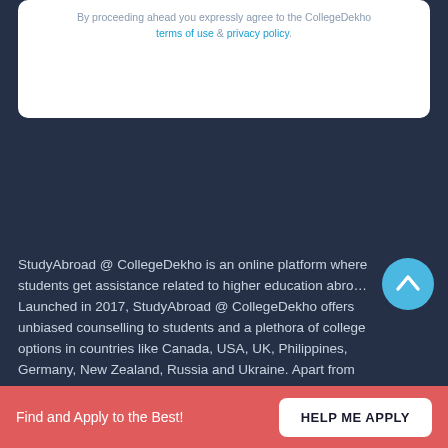By proceeding ahead you expressly agree to the CollegeDekho terms of use & privacy policy.
StudyAbroad @ CollegeDekho is an online platform where students get assistance related to higher education abroad. Launched in 2017, StudyAbroad @ CollegeDekho offers unbiased counselling to students and a plethora of college options in countries like Canada, USA, UK, Philippines, Germany, New Zealand, Russia and Ukraine. Apart from providing personalized guidance to students for admission in dream
Read more
Find and Apply to the Best!
HELP ME APPLY